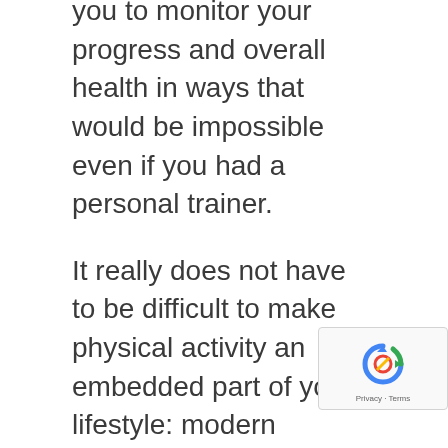you to monitor your progress and overall health in ways that would be impossible even if you had a personal trainer.
It really does not have to be difficult to make physical activity an embedded part of your lifestyle: modern technology makes it easy for you, and we make it even easier. All our solutions – including our GoLiveActive exercise programme and our GoLiveClip health & safety monitor – are designed in such a way that they can be used